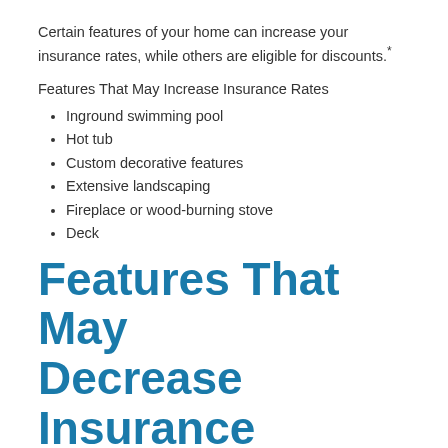Certain features of your home can increase your insurance rates, while others are eligible for discounts.*
Features That May Increase Insurance Rates
Inground swimming pool
Hot tub
Custom decorative features
Extensive landscaping
Fireplace or wood-burning stove
Deck
Features That May Decrease Insurance Rates
Features That May Decrease Insurance Rates